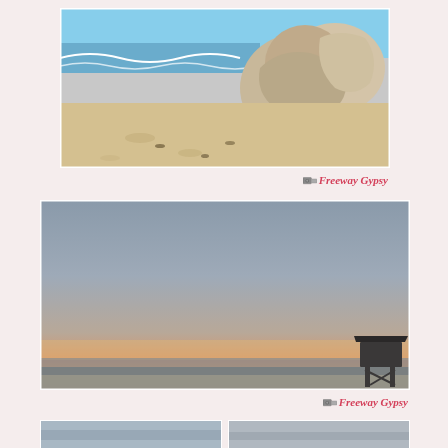[Figure (photo): Beach scene with large granite boulders, sandy beach, and ocean waves with blue sky. Watermark reads 'Freeway Gypsy'.]
[Figure (photo): Wide beach sunset panorama with large grey-blue sky gradient fading to warm orange and peach near the horizon. A lifeguard tower silhouette is visible in the lower right. Watermark reads 'Freeway Gypsy'.]
[Figure (photo): Two partial beach thumbnail photos at the bottom of the page, partially cropped.]